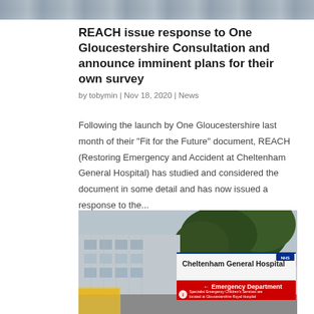[Figure (photo): Partial top strip of an outdoor/building photo cropped at the top of the page]
REACH issue response to One Gloucestershire Consultation and announce imminent plans for their own survey
by tobymin | Nov 18, 2020 | News
Following the launch by One Gloucestershire last month of their "Fit for the Future" document, REACH (Restoring Emergency and Accident at Cheltenham General Hospital) has studied and considered the document in some detail and has now issued a response to the...
[Figure (photo): Photograph of Cheltenham General Hospital building exterior with hospital sign showing 'Cheltenham General Hospital' and 'Emergency Department' with arrow pointing left, and note about Specialist Emergency Children's Services located at Gloucestershire Royal Hospital]